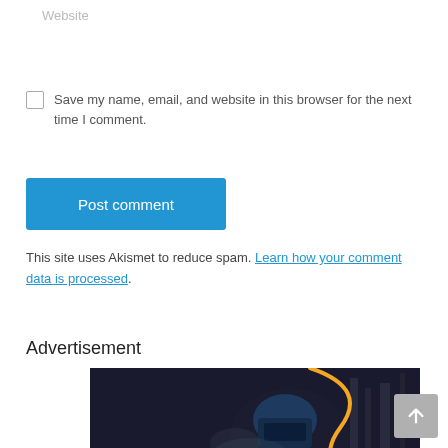Website
Save my name, email, and website in this browser for the next time I comment.
Post comment
This site uses Akismet to reduce spam. Learn how your comment data is processed.
Advertisement
[Figure (photo): A welder working with bright sparks and blue light, wearing protective gear. Orange curved lines overlay the image as a graphic design element.]